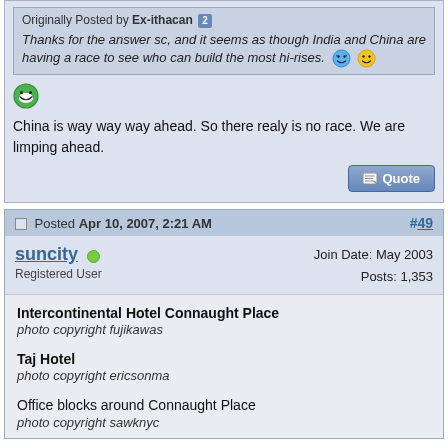Originally Posted by Ex-ithacan
Thanks for the answer sc, and it seems as though India and China are having a race to see who can build the most hi-rises.
China is way way way ahead. So there realy is no race. We are limping ahead.
Posted Apr 10, 2007, 2:21 AM  #49
suncity  Registered User  Join Date: May 2003  Posts: 1,353
Intercontinental Hotel Connaught Place
photo copyright fujikawas
Taj Hotel
photo copyright ericsonma
Office blocks around Connaught Place
photo copyright sawknyc